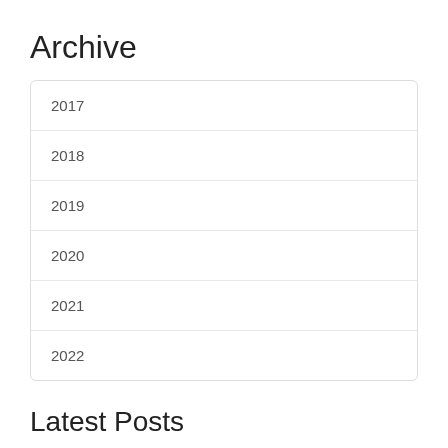Archive
2017
2018
2019
2020
2021
2022
Latest Posts
Using Modern Warehouse Management Systems To Improve Your Facility's Operations  14 April 2022
A warehouse can be an important facility that can